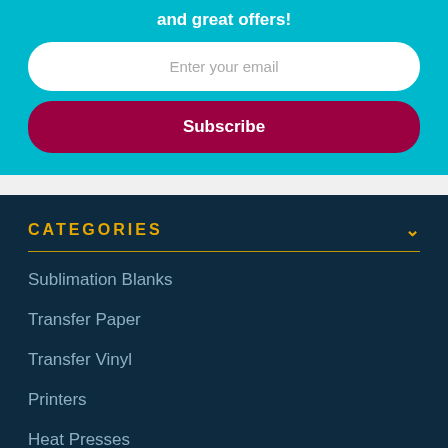and great offers!
Enter your email
Subscribe
CATEGORIES
Sublimation Blanks
Transfer Paper
Transfer Vinyl
Printers
Heat Presses